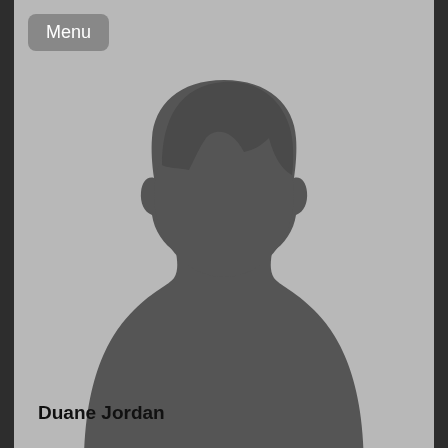[Figure (illustration): Generic placeholder silhouette of a person (head and shoulders) in dark gray against a light gray background, with a 'Menu' button in the top-left corner]
Duane Jordan